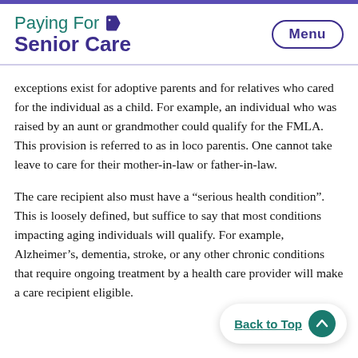Paying For Senior Care
exceptions exist for adoptive parents and for relatives who cared for the individual as a child. For example, an individual who was raised by an aunt or grandmother could qualify for the FMLA. This provision is referred to as in loco parentis. One cannot take leave to care for their mother-in-law or father-in-law.
The care recipient also must have a “serious health condition”. This is loosely defined, but suffice to say that most conditions impacting aging individuals will qualify. For example, Alzheimer’s, dementia, stroke, or any other chronic conditions that require ongoing treatment by a health care provider will make a care recipient eligible.